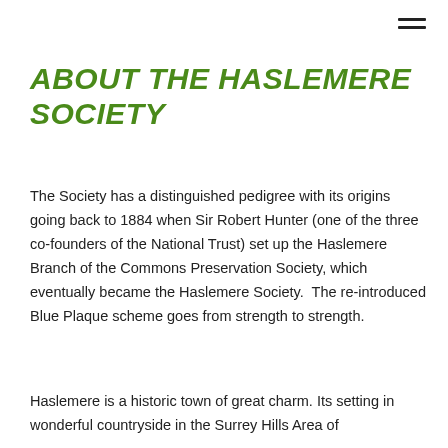ABOUT THE HASLEMERE SOCIETY
The Society has a distinguished pedigree with its origins going back to 1884 when Sir Robert Hunter (one of the three co-founders of the National Trust) set up the Haslemere Branch of the Commons Preservation Society, which eventually became the Haslemere Society.  The re-introduced Blue Plaque scheme goes from strength to strength.
Haslemere is a historic town of great charm. Its setting in wonderful countryside in the Surrey Hills Area of